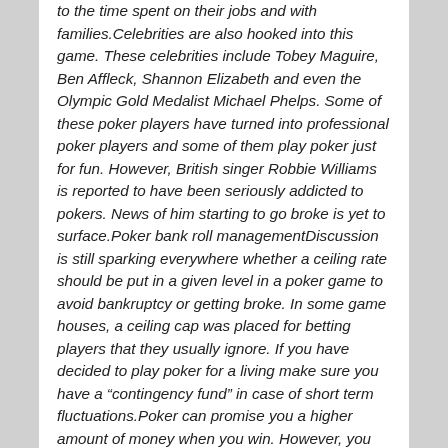to the time spent on their jobs and with families.Celebrities are also hooked into this game. These celebrities include Tobey Maguire, Ben Affleck, Shannon Elizabeth and even the Olympic Gold Medalist Michael Phelps. Some of these poker players have turned into professional poker players and some of them play poker just for fun. However, British singer Robbie Williams is reported to have been seriously addicted to pokers. News of him starting to go broke is yet to surface.Poker bank roll managementDiscussion is still sparking everywhere whether a ceiling rate should be put in a given level in a poker game to avoid bankruptcy or getting broke. In some game houses, a ceiling cap was placed for betting players that they usually ignore. If you have decided to play poker for a living make sure you have a “contingency fund” in case of short term fluctuations.Poker can promise you a higher amount of money when you win. However, you are only one of the eight to ten people who are also willing to do anything to win the amount. Most often than not, players succumb to great losses.Bankroll is the amount of money that a player can afford to lose which is a common scenario in poker games. It is the total amount of money which is